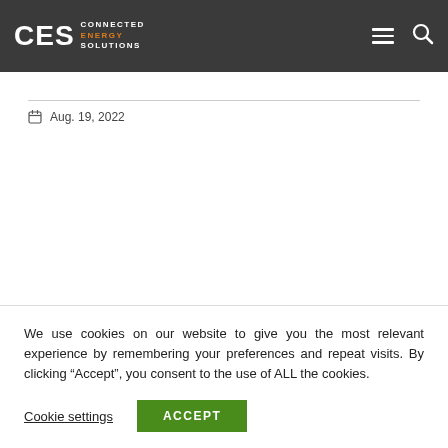CES CONNECTED ENERGY SOLUTIONS
Aug. 19, 2022
We use cookies on our website to give you the most relevant experience by remembering your preferences and repeat visits. By clicking “Accept”, you consent to the use of ALL the cookies.
Cookie settings  ACCEPT